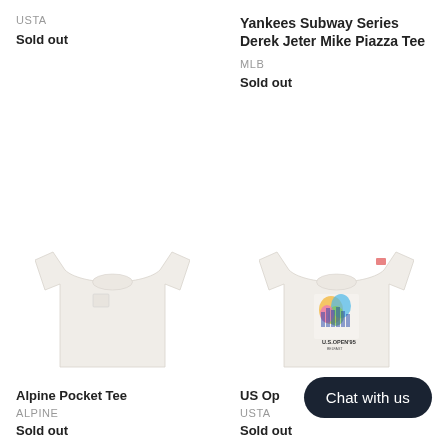USTA
Sold out
Yankees Subway Series Derek Jeter Mike Piazza Tee
MLB
Sold out
[Figure (photo): Plain white pocket t-shirt laid flat on white background]
[Figure (photo): White t-shirt with colorful US Open 95 graphic on front, laid flat on white background]
Alpine Pocket Tee
ALPINE
Sold out
US Op...
USTA
Sold out